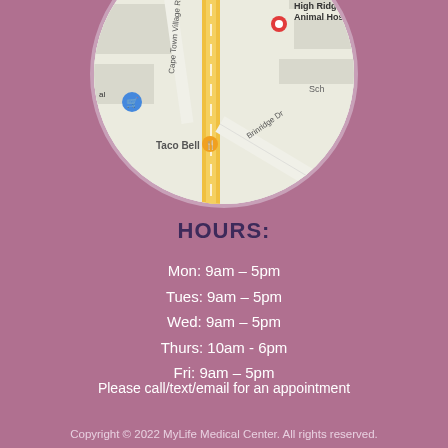[Figure (map): Circular cropped Google Maps screenshot showing High Ridge Animal Hospital, Taco Bell, and surrounding roads including route 30 and Town Village Rd and Brinridge Dr]
HOURS:
Mon: 9am – 5pm
Tues: 9am – 5pm
Wed: 9am – 5pm
Thurs: 10am - 6pm
Fri: 9am – 5pm
Please call/text/email for an appointment
Copyright © 2022 MyLife Medical Center. All rights reserved.